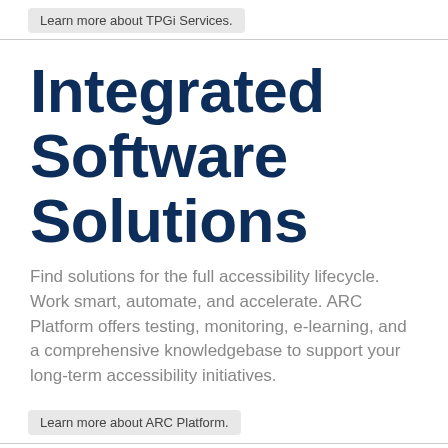Learn more about TPGi Services.
Integrated Software Solutions
Find solutions for the full accessibility lifecycle. Work smart, automate, and accelerate. ARC Platform offers testing, monitoring, e-learning, and a comprehensive knowledgebase to support your long-term accessibility initiatives.
Learn more about ARC Platform.